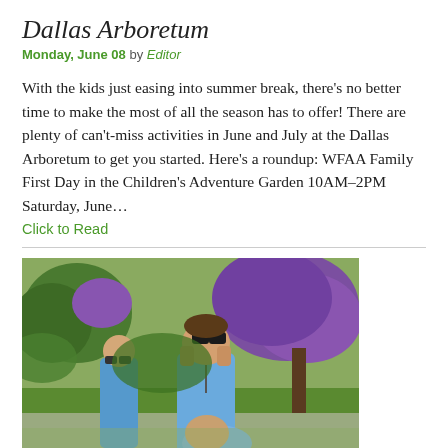Dallas Arboretum
Monday, June 08 by Editor
With the kids just easing into summer break, there's no better time to make the most of all the season has to offer! There are plenty of can't-miss activities in June and July at the Dallas Arboretum to get you started. Here's a roundup: WFAA Family First Day in the Children's Adventure Garden 10AM–2PM Saturday, June…
Click to Read
[Figure (photo): A child in a light blue t-shirt looking up through binoculars outdoors at the Dallas Arboretum, with purple flowering trees in the background and green grass. Another child in a blue shirt visible to the left.]